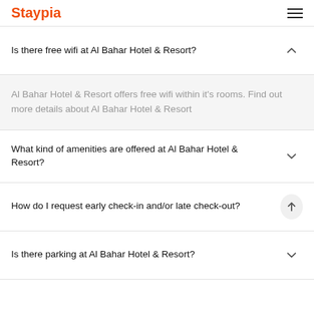Staypia
Is there free wifi at Al Bahar Hotel & Resort?
Al Bahar Hotel & Resort offers free wifi within it's rooms. Find out more details about Al Bahar Hotel & Resort
What kind of amenities are offered at Al Bahar Hotel & Resort?
How do I request early check-in and/or late check-out?
Is there parking at Al Bahar Hotel & Resort?